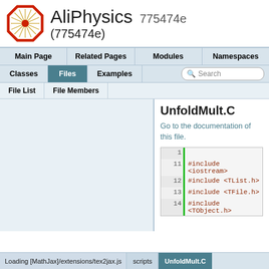[Figure (logo): AliPhysics logo - red octagon with starburst pattern]
AliPhysics 775474e (775474e)
Main Page | Related Pages | Modules | Namespaces | Classes | Files | Examples | Search
File List  File Members
UnfoldMult.C
Go to the documentation of this file.
1
11  #include <iostream>
12  #include <TList.h>
13  #include <TFile.h>
14  #include <TObject.h>
Loading [MathJax]/extensions/tex2jax.js  scripts  UnfoldMult.C